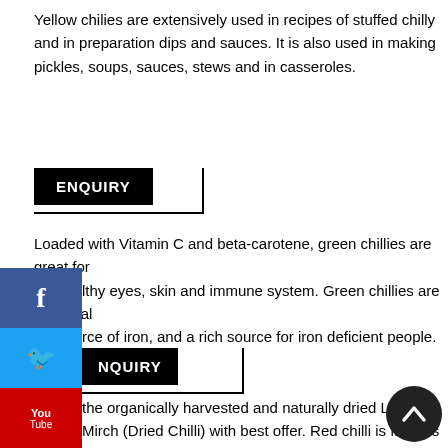Yellow chilies are extensively used in recipes of stuffed chilly and in preparation dips and sauces. It is also used in making pickles, soups, sauces, stews and in casseroles.
[Figure (infographic): ENQUIRY button with black background and white text, with horizontal and vertical lines forming a corner bracket shape below/right of the button]
Loaded with Vitamin C and beta-carotene, green chillies are great for lthy eyes, skin and immune system. Green chillies are a natural rce of iron, and a rich source for iron deficient people.
[Figure (infographic): Social media sidebar with Facebook (blue), Twitter (blue), YouTube (red), Phone (green) icons on left side of page]
[Figure (infographic): ENQUIRY button (second instance) with black background and white text, with horizontal and vertical lines forming a corner bracket shape]
the organically harvested and naturally dried Longi Mirch (Dried Chilli) with best offer. Red chilli is famous in between everyone whether someone enjoys eating spicy food or not. With restrictions it also provides us various health benefits. Amount that should used is totally depends upon your taste but moderate use is
[Figure (infographic): Back to top circular button with dark background and upward arrow chevron, positioned bottom right]